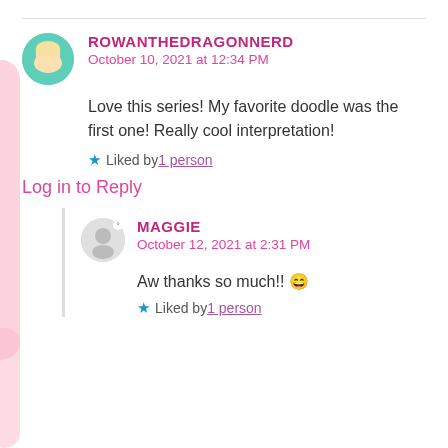ROWANTHEDRAGONNERD
October 10, 2021 at 12:34 PM
Love this series! My favorite doodle was the first one! Really cool interpretation!
Liked by 1 person
Log in to Reply
MAGGIE
October 12, 2021 at 2:31 PM
Aw thanks so much!! 😄
Liked by 1 person